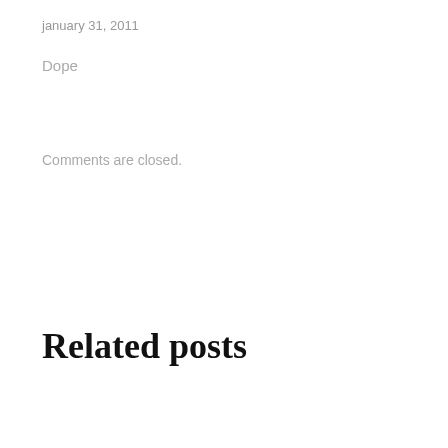january 31, 2011
Dope
Comments are closed.
Related posts